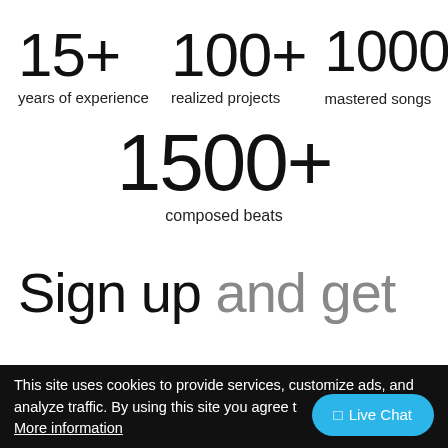15+
100+
1000+
years of experience
realized projects
mastered songs
1500+
composed beats
Sign up and get
This site uses cookies to provide services, customize ads, and analyze traffic. By using this site you agree to
More information
Live Chat